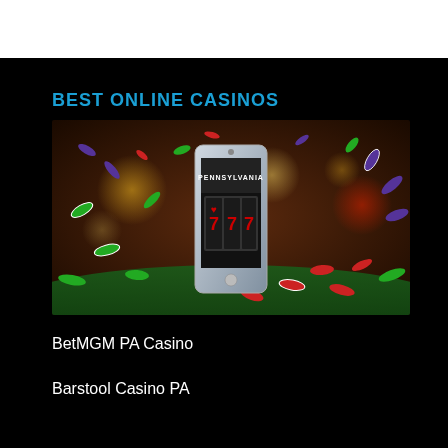BEST ONLINE CASINOS
[Figure (photo): Casino themed image showing a smartphone displaying a slot machine with '777' and 'PENNSYLVANIA' text, surrounded by scattered casino chips in red, green, and purple colors on a green felt background with blurred bokeh lights]
BetMGM PA Casino
Barstool Casino PA